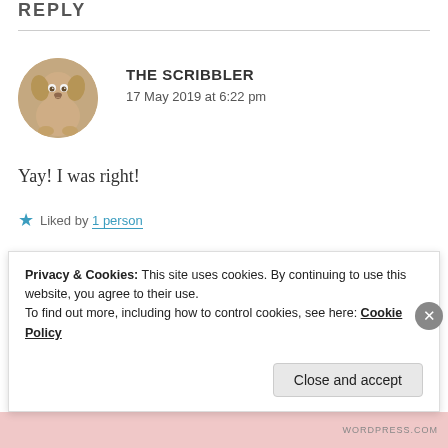REPLY
[Figure (photo): Circular avatar photo of a small golden/beige puppy sitting on a couch, looking at camera]
THE SCRIBBLER
17 May 2019 at 6:22 pm
Yay! I was right!
★ Liked by 1 person
Privacy & Cookies: This site uses cookies. By continuing to use this website, you agree to their use.
To find out more, including how to control cookies, see here: Cookie Policy
Close and accept